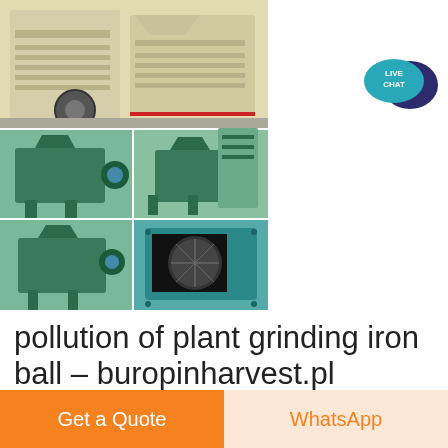[Figure (photo): Grid of 5 industrial machine photos: top row shows large yellow/beige impact crusher machines; middle row shows two green briquette press machines from different angles; bottom row shows one green briquette press machine and a close-up of the roller die.]
[Figure (infographic): Live Chat bubble icon in teal and dark blue with text LIVE CHAT]
pollution of plant grinding iron ball – buropinharvest.pl
Get a Quote
WhatsApp